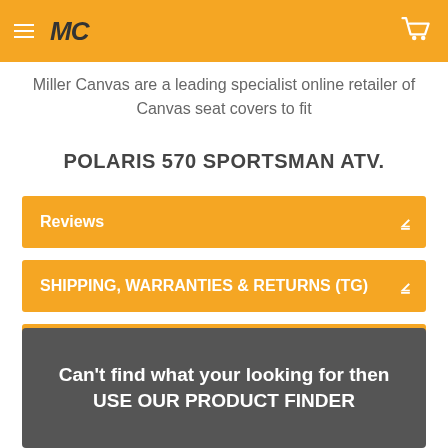Miller Canvas — MC logo and cart icon
Miller Canvas are a leading specialist online retailer of Canvas seat covers to fit
POLARIS 570 SPORTSMAN ATV.
Reviews
SHIPPING, WARRANTIES & RETURNS (TG)
(TG) Sample Images
Can't find what your looking for then USE OUR PRODUCT FINDER